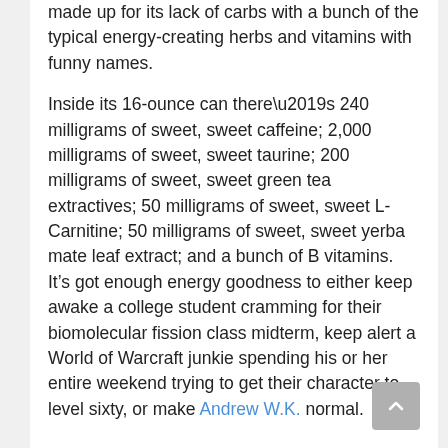made up for its lack of carbs with a bunch of the typical energy-creating herbs and vitamins with funny names.
Inside its 16-ounce can there’s 240 milligrams of sweet, sweet caffeine; 2,000 milligrams of sweet, sweet taurine; 200 milligrams of sweet, sweet green tea extractives; 50 milligrams of sweet, sweet L-Carnitine; 50 milligrams of sweet, sweet yerba mate leaf extract; and a bunch of B vitamins. It’s got enough energy goodness to either keep awake a college student cramming for their biomolecular fission class midterm, keep alert a World of Warcraft junkie spending his or her entire weekend trying to get their character to level sixty, or make Andrew W.K. normal.